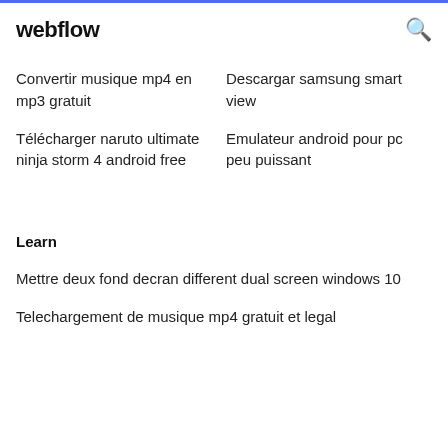webflow
Convertir musique mp4 en mp3 gratuit
Descargar samsung smart view
Télécharger naruto ultimate ninja storm 4 android free
Emulateur android pour pc peu puissant
Learn
Mettre deux fond decran different dual screen windows 10
Telechargement de musique mp4 gratuit et legal